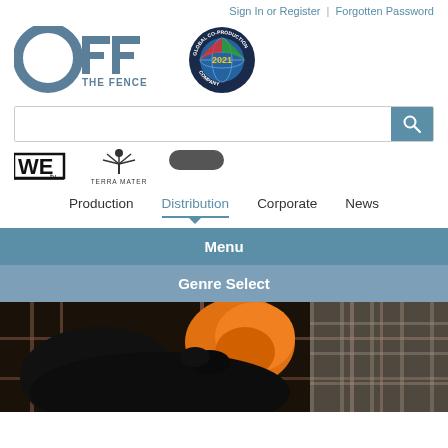Sign In or Register  |  Forgotten Password
[Figure (logo): OFF THE FENCE company logo — large grey circle O, bold FF letters, tagline THE FENCE]
[Figure (logo): Global Co-Production Company 2021 circular badge logo with globe and colorful text]
[Figure (screenshot): Search input bar with blue magnifying glass button]
[Figure (logo): WE tv logo (bold black WE with tv subscript)]
[Figure (logo): Terra Mater logo with tree/dandelion icon]
[Figure (logo): Partially visible third partner logo]
Production  Distribution  Corporate  News
Menu
Genre Select
[Figure (photo): Close-up photo of an animal in a cage, with orange and black coloring, behind metal bars]